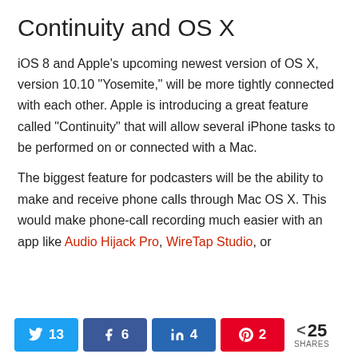Continuity and OS X
iOS 8 and Apple’s upcoming newest version of OS X, version 10.10 “Yosemite,” will be more tightly connected with each other. Apple is introducing a great feature called “Continuity” that will allow several iPhone tasks to be performed on or connected with a Mac.
The biggest feature for podcasters will be the ability to make and receive phone calls through Mac OS X. This would make phone-call recording much easier with an app like Audio Hijack Pro, WireTap Studio, or